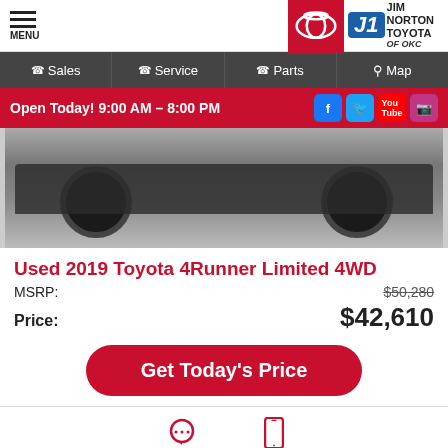[Figure (screenshot): Jim Norton Toyota of OKC dealership website header with Toyota logo, menu icon, navigation bar showing Sales, Service, Parts, Map, open hours bar, car photo, vehicle listing for Used 2019 Toyota 4Runner Limited 4WD with MSRP $50,280 and price $42,610, Get Today's Price button, and bottom navigation with Messages and Text Us icons]
MENU | TOYOTA | JIM NORTON TOYOTA of OKC
Sales  Service  Parts  Map
Open Today! 9:00 AM – 8:00 PM
Used 2019 Toyota 4Runner Limited 4WD
MSRP: $50,280
Price: $42,610
Get Today's Price
Messages  Text Us